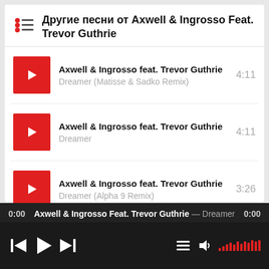Другие песни от Axwell & Ingrosso Feat. Trevor Guthrie
Axwell & Ingrosso feat. Trevor Guthrie — Dreamer (Matisse & Sadko Remix) — 4:11
Axwell & Ingrosso feat. Trevor Guthrie — Dreamer — 4:11
Axwell & Ingrosso feat. Trevor Guthrie — Dreamer (Alpha 9 Remix) — 3:26
0:00  Axwell & Ingrosso Feat. Trevor Guthrie — Dreamer  0:00